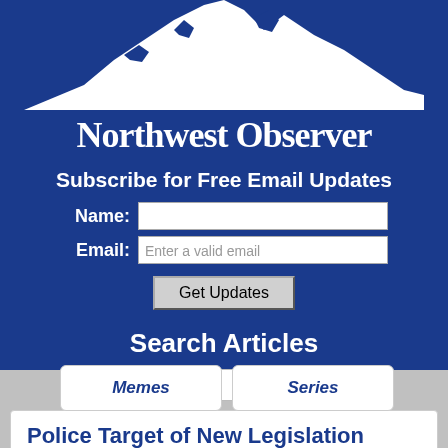[Figure (logo): Northwest Observer logo with mountain silhouette in white on dark blue background and old-English style text 'Northwest Observer']
Subscribe for Free Email Updates
Name:
Email: Enter a valid email
Get Updates
Search Articles
Enter search words...
Search
Memes
Series
Police Target of New Legislation
Does this make us safer?
[Figure (photo): Partial photo of a person at the bottom of the page]